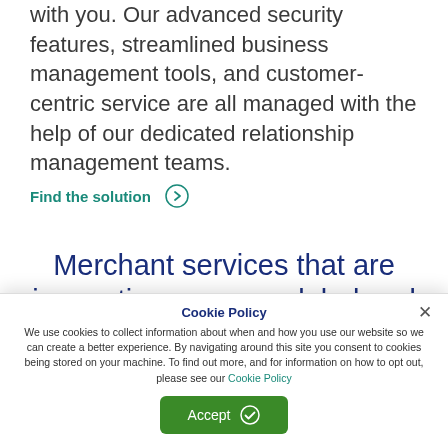with you. Our advanced security features, streamlined business management tools, and customer-centric service are all managed with the help of our dedicated relationship management teams.
Find the solution →
Merchant services that are innovative, secure, global and customer centric
Cookie Policy
We use cookies to collect information about when and how you use our website so we can create a better experience. By navigating around this site you consent to cookies being stored on your machine. To find out more, and for information on how to opt out, please see our Cookie Policy
Accept